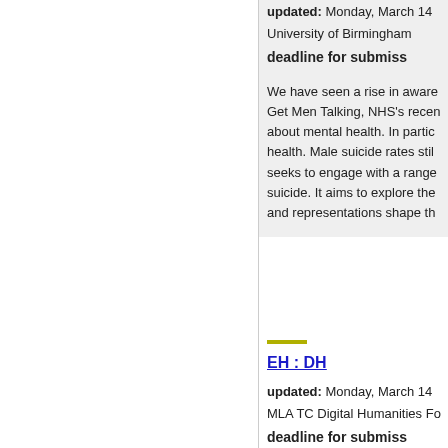updated: Monday, March 14
University of Birmingham
deadline for submiss
We have seen a rise in aware Get Men Talking, NHS's recen about mental health. In partic health. Male suicide rates stil seeks to engage with a range suicide. It aims to explore the and representations shape th
EH : DH
updated: Monday, March 14
MLA TC Digital Humanities Fo
deadline for submiss